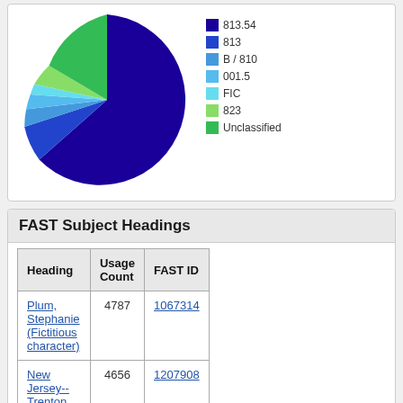[Figure (pie-chart): Classification Distribution]
FAST Subject Headings
| Heading | Usage Count | FAST ID |
| --- | --- | --- |
| Plum, Stephanie (Fictitious character) | 4787 | 1067314 |
| New Jersey--Trenton | 4656 | 1207908 |
| Murder for hire | 4627 | 1029802 |